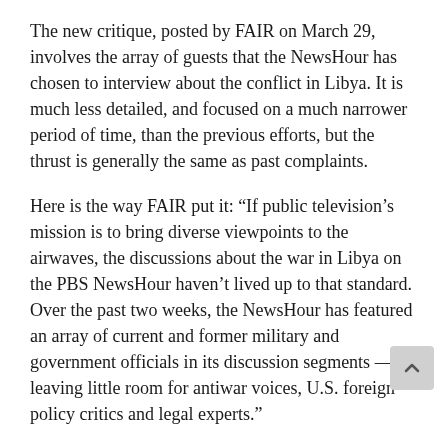The new critique, posted by FAIR on March 29, involves the array of guests that the NewsHour has chosen to interview about the conflict in Libya. It is much less detailed, and focused on a much narrower period of time, than the previous efforts, but the thrust is generally the same as past complaints.
Here is the way FAIR put it: “If public television’s mission is to bring diverse viewpoints to the airwaves, the discussions about the war in Libya on the PBS NewsHour haven’t lived up to that standard. Over the past two weeks, the NewsHour has featured an array of current and former military and government officials in its discussion segments — leaving little room for antiwar voices, U.S. foreign policy critics and legal experts.”
As is customary with its “action alerts,” FAIR asks its subscribers to write to the ombudsman and about 140